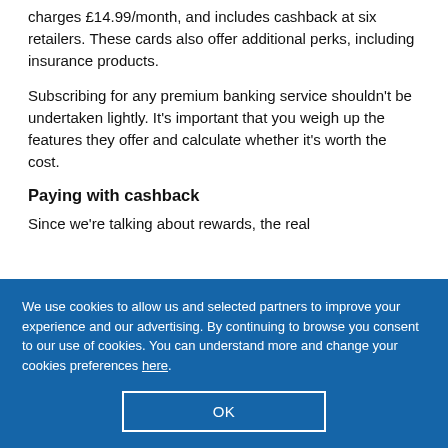charges £14.99/month, and includes cashback at six retailers. These cards also offer additional perks, including insurance products.
Subscribing for any premium banking service shouldn't be undertaken lightly. It's important that you weigh up the features they offer and calculate whether it's worth the cost.
Paying with cashback
Since we're talking about rewards, the real
We use cookies to allow us and selected partners to improve your experience and our advertising. By continuing to browse you consent to our use of cookies. You can understand more and change your cookies preferences here.